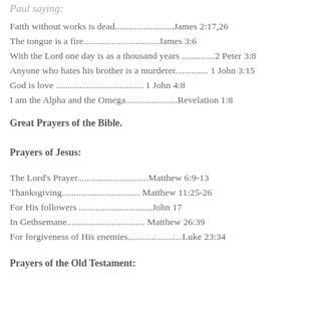Faith without works is dead.........................James 2:17,26
The tongue is a fire................................James 3:6
With the Lord one day is as a thousand years ..............2 Peter 3:8
Anyone who hates his brother is a murderer.............. 1 John 3:15
God is love ..................................... 1 John 4:8
I am the Alpha and the Omega......................Revelation 1:8
Great Prayers of the Bible.
Prayers of Jesus:
The Lord's Prayer..............................Matthew 6:9-13
Thanksgiving................................. Matthew 11:25-26
For His followers ...............................John 17
In Gethsemane................................. Matthew 26:39
For forgiveness of His enemies.......................Luke 23:34
Prayers of the Old Testament: